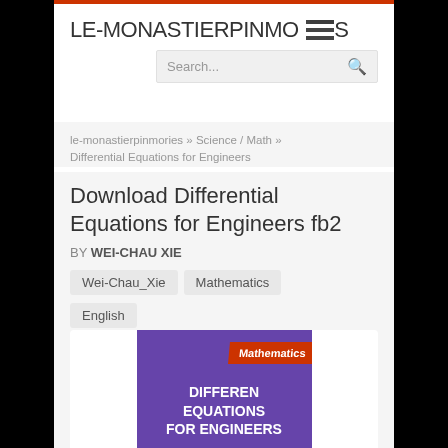LE-MONASTIERPINMORIES
Search...
le-monastierpinmories » Science / Math » Differential Equations for Engineers
Download Differential Equations for Engineers fb2
BY WEI-CHAU XIE
Wei-Chau_Xie
Mathematics
English
[Figure (illustration): Book cover of Differential Equations for Engineers with purple background and red banner reading Mathematics]